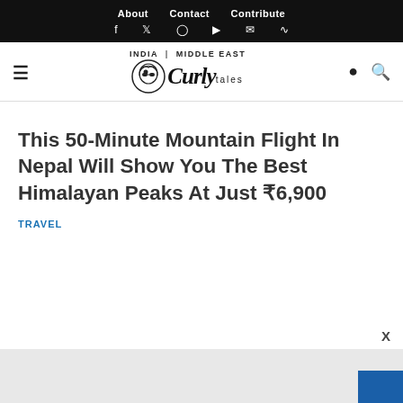About  Contact  Contribute
Curly Tales — INDIA | MIDDLE EAST
This 50-Minute Mountain Flight In Nepal Will Show You The Best Himalayan Peaks At Just ₹6,900
TRAVEL